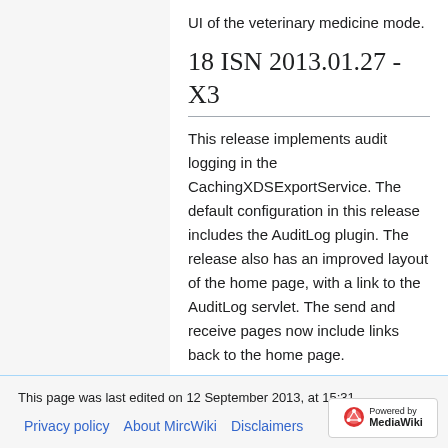UI of the veterinary medicine mode.
18 ISN 2013.01.27 - X3
This release implements audit logging in the CachingXDSExportService. The default configuration in this release includes the AuditLog plugin. The release also has an improved layout of the home page, with a link to the AuditLog servlet. The send and receive pages now include links back to the home page.
This page was last edited on 12 September 2013, at 15:31.
Privacy policy   About MircWiki   Disclaimers